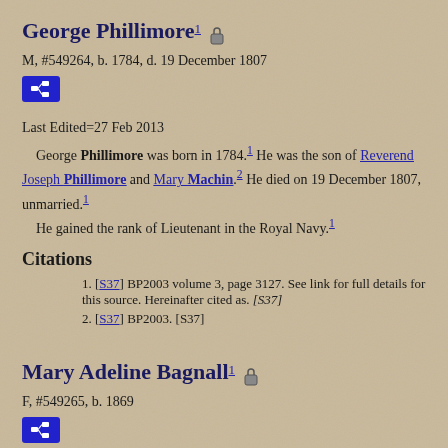George Phillimore¹ 🔒
M, #549264, b. 1784, d. 19 December 1807
Last Edited=27 Feb 2013
George Phillimore was born in 1784.¹ He was the son of Reverend Joseph Phillimore and Mary Machin.² He died on 19 December 1807, unmarried.¹
He gained the rank of Lieutenant in the Royal Navy.¹
Citations
1. [S37] BP2003 volume 3, page 3127. See link for full details for this source. Hereinafter cited as. [S37]
2. [S37] BP2003. [S37]
Mary Adeline Bagnall¹ 🔒
F, #549265, b. 1869